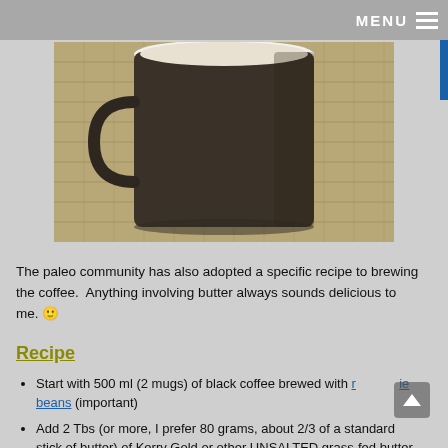MENU
[Figure (photo): A dark brown coffee mug with white interior filled with coffee, sitting on a burlap/hessian textured fabric surface.]
The paleo community has also adopted a specific recipe to brewing the coffee.  Anything involving butter always sounds delicious to me. 🙂
Recipe
Start with 500 ml (2 mugs) of black coffee brewed with r[oaste] beans (important)
Add 2 Tbs (or more, I prefer 80 grams, about 2/3 of a standard stick of butter) of Kerry Gold or other UNSALTED grass-fed butter
Add 30 grams of MCT oil for max energy, weight loss and brain